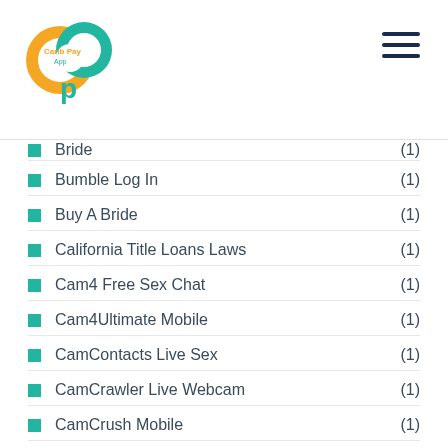Carib Pay App — navigation header
Bumble Log In (1)
Buy A Bride (1)
California Title Loans Laws (1)
Cam4 Free Sex Chat (1)
Cam4Ultimate Mobile (1)
CamContacts Live Sex (1)
CamCrawler Live Webcam (1)
CamCrush Mobile (1)
CamDolls Site (1)
CameraPrive Live Sex Chat (1)